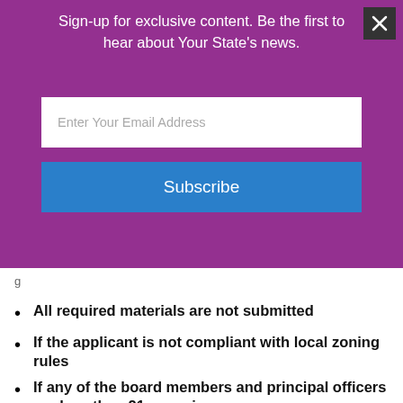[Figure (screenshot): Purple email subscription banner with 'Sign-up for exclusive content. Be the first to hear about Your State's news.' text, an email input field, and a Subscribe button.]
All required materials are not submitted
If the applicant is not compliant with local zoning rules
If any of the board members and principal officers are less than 21 years in age
Early Approval of Adult Use Cultivation Center License Requirements
Cannabis Infuser Organization Application Requirements